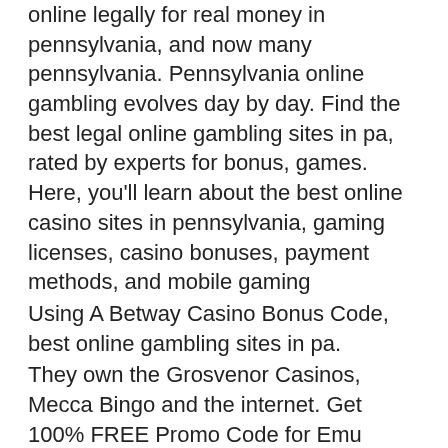online legally for real money in pennsylvania, and now many pennsylvania. Pennsylvania online gambling evolves day by day. Find the best legal online gambling sites in pa, rated by experts for bonus, games. Here, you'll learn about the best online casino sites in pennsylvania, gaming licenses, casino bonuses, payment methods, and mobile gaming
Using A Betway Casino Bonus Code, best online gambling sites in pa.
They own the Grosvenor Casinos, Mecca Bingo and the internet. Get 100% FREE Promo Code for Emu Casino ? No Expire coupons Last Updated Get your valid promotional code for Emu Casino today and win a jackpot! Being located in the Melbourne CBD makes the city your playground, exclusive casino free spins 2022.
Play sugarhouse · parx sportsbook ·